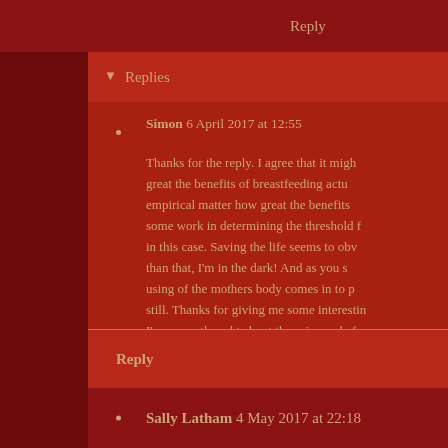Reply
Replies
Simon 6 April 2017 at 12:55
Thanks for the reply. I agree that it migh... great the benefits of breastfeeding actu... empirical matter how great the benefits ... some work in determining the threshold f... in this case. Saving the life seems to obv... than that, I'm in the dark! And as you s... using of the mothers body comes in to p... still. Thanks for giving me some interestin... I've never thought about these issues befor...
Reply
Sally Latham 4 May 2017 at 22:18